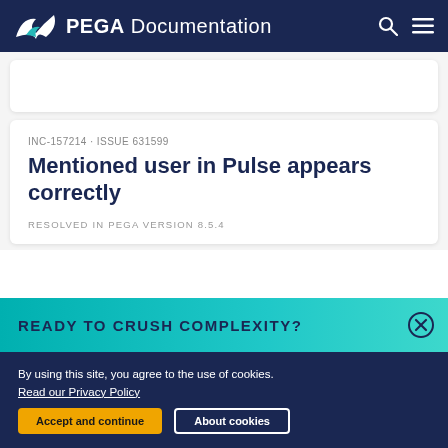PEGA Documentation
Mentioned user in Pulse appears correctly
INC-157214 · ISSUE 631599
RESOLVED IN PEGA VERSION 8.5.4
READY TO CRUSH COMPLEXITY?
By using this site, you agree to the use of cookies.
Read our Privacy Policy
Accept and continue   About cookies